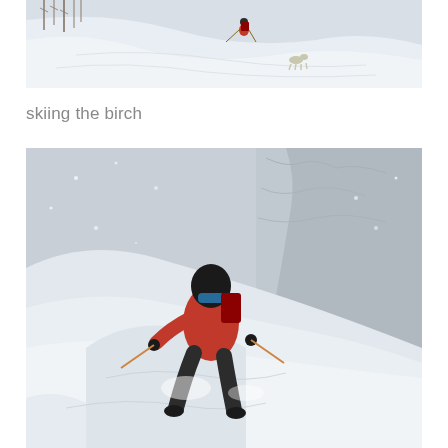[Figure (photo): Aerial/wide shot of a snowy mountain slope with a skier in a red jacket descending and a dog visible in the snow. Trees with bare branches visible in upper left.]
skiing the birch
[Figure (photo): Close-up action photo of a skier in a red jacket and black helmet with backpack, skiing steep deep powder snow with ice-covered rock wall in the background. Skier holds poles and snow is spraying.]